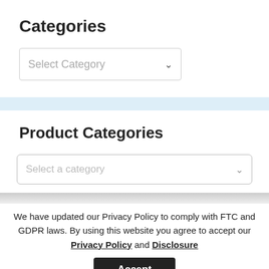Categories
Select Category
Product Categories
Select a category
We have updated our Privacy Policy to comply with FTC and GDPR laws. By using this website you agree to accept our Privacy Policy and Disclosure
Accept